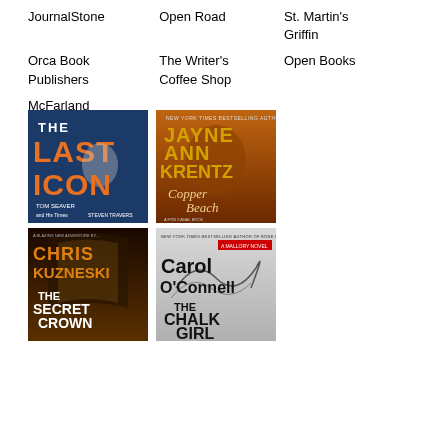JournalStone
Open Road
St. Martin's Griffin
Orca Book Publishers
The Writer's Coffee Shop
Open Books
McFarland
[Figure (photo): Book cover: The Last Icon - Tom Seaver and His Times by Steven Travers, dark blue background with large orange text]
[Figure (photo): Book cover: Copper Beach by Jayne Ann Krentz, warm orange/sunset tones with author name prominent]
[Figure (photo): Book cover: The Secret Crown by Chris Kuzneski, dark gothic interior scene]
[Figure (photo): Book cover: The Chalk Girl by Carol O'Connell, light gray background with decorative swirls]